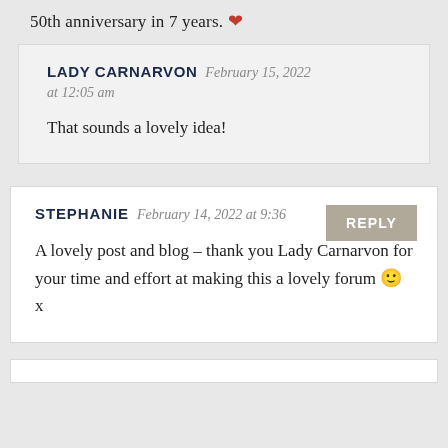50th anniversary in 7 years. ❤
LADY CARNARVON  February 15, 2022 at 12:05 am
That sounds a lovely idea!
STEPHANIE  February 14, 2022 at 9:36
A lovely post and blog – thank you Lady Carnarvon for your time and effort at making this a lovely forum 🙂 x